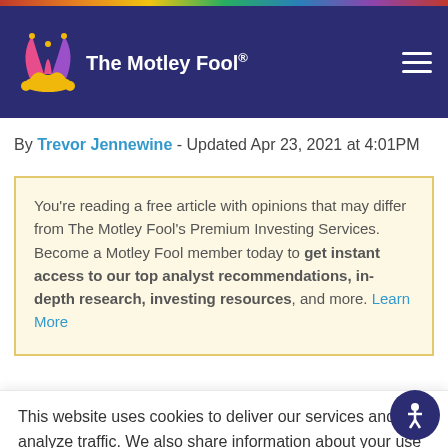The Motley Fool
By Trevor Jennewine - Updated Apr 23, 2021 at 4:01PM
You're reading a free article with opinions that may differ from The Motley Fool's Premium Investing Services. Become a Motley Fool member today to get instant access to our top analyst recommendations, in-depth research, investing resources, and more. Learn More
This website uses cookies to deliver our services and to analyze traffic. We also share information about your use of our site with advertising and other partners. Privacy Policy
Got it
Cookie Settings